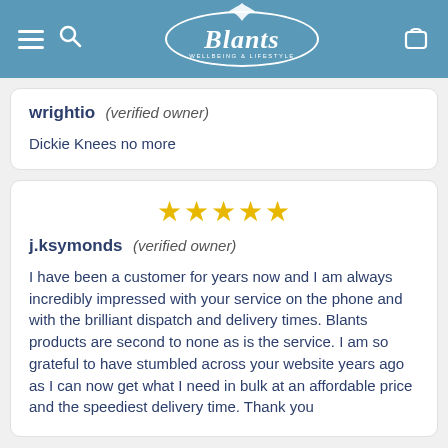[Figure (logo): Blants Wellbeing & Lifestyle logo with bird, oval border, hamburger menu, search icon, and cart icon on blue header]
wrightio (verified owner)
Dickie Knees no more
★★★★★
j.ksymonds (verified owner)
I have been a customer for years now and I am always incredibly impressed with your service on the phone and with the brilliant dispatch and delivery times. Blants products are second to none as is the service. I am so grateful to have stumbled across your website years ago as I can now get what I need in bulk at an affordable price and the speediest delivery time. Thank you